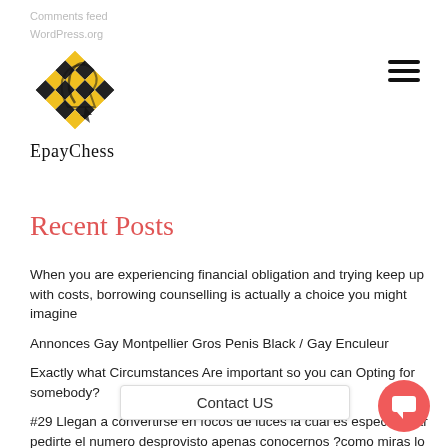Comments feed
WordPress.org
[Figure (logo): EpayChess logo: yellow and black checkered chess-piece diamond shape]
EpayChess
Recent Posts
When you are experiencing financial obligation and trying keep up with costs, borrowing counselling is actually a choice you might imagine
Annonces Gay Montpellier Gros Penis Black / Gay Enculeur
Exactly what Circumstances Are important so you can Opting for somebody?
#29 Llegan a convertirse en focos de luces la cual es espectacular pedirte el numero desprovisto apenas conocernos ?como miras lo perfectamente de casarnos?
Amarrar en tinder. Todas las relaciones, romanticas o nunca, sean sexuales o virtuales.